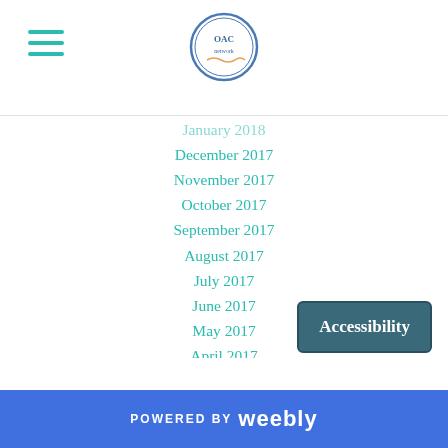[Figure (logo): OAC network circular logo with blue border]
January 2018
December 2017
November 2017
October 2017
September 2017
August 2017
July 2017
June 2017
May 2017
April 2017
March 2017
February 2017
January 2017
December 2016
November 2016
October 2016
September 2016
Accessibility
POWERED BY weebly